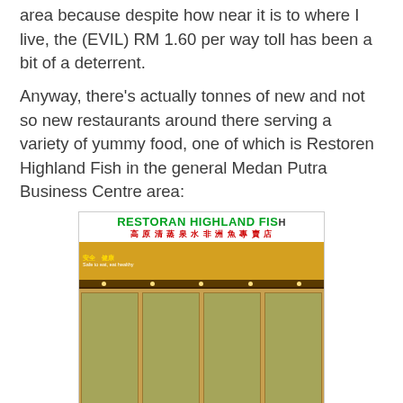area because despite how near it is to where I live, the (EVIL) RM 1.60 per way toll has been a bit of a deterrent.
Anyway, there's actually tonnes of new and not so new restaurants around there serving a variety of yummy food, one of which is Restoren Highland Fish in the general Medan Putra Business Centre area:
[Figure (photo): Exterior night photo of Restoran Highland Fish restaurant showing illuminated signage with English text 'RESTORAN HIGHLAND FISH' in green and Chinese characters in red, with restaurant interior visible below.]
Outside Highland Fish....
The food they serve is mainly Taiwanese and the environment is simple but comfortable - love how it is clean, brightly lit and air conditioned: